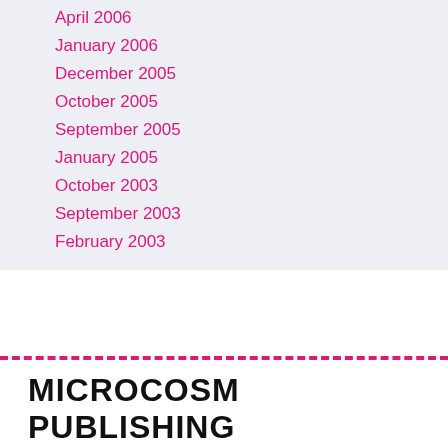April 2006
January 2006
December 2005
October 2005
September 2005
January 2005
October 2003
September 2003
February 2003
MICROCOSM PUBLISHING
Portland, OR 97227
Open for pickups and deliveries only, Mon–Sat, 11am-3pm
2752 N Williams Ave  map
(360) 291-7226